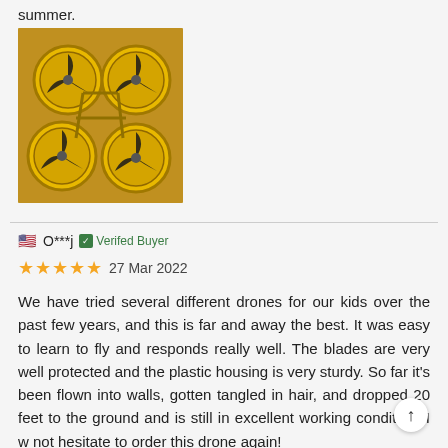summer.
[Figure (photo): A yellow/gold quadcopter drone with four circular blade guards, each containing three-blade propellers, lying on a flat surface.]
O***j   Verified Buyer
27 Mar 2022
We have tried several different drones for our kids over the past few years, and this is far and away the best. It was easy to learn to fly and responds really well. The blades are very well protected and the plastic housing is very sturdy. So far it's been flown into walls, gotten tangled in hair, and dropped 20 feet to the ground and is still in excellent working condition. I w not hesitate to order this drone again!